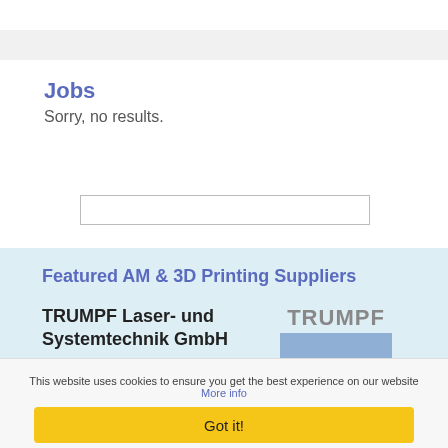Jobs
Sorry, no results.
[Figure (screenshot): Search input box]
Featured AM & 3D Printing Suppliers
TRUMPF Laser- und Systemtechnik GmbH
Industrial Additive Manufacturing with TRUMPF: The right solution
[Figure (logo): TRUMPF logo with blue rectangle]
This website uses cookies to ensure you get the best experience on our website More info
Got it!